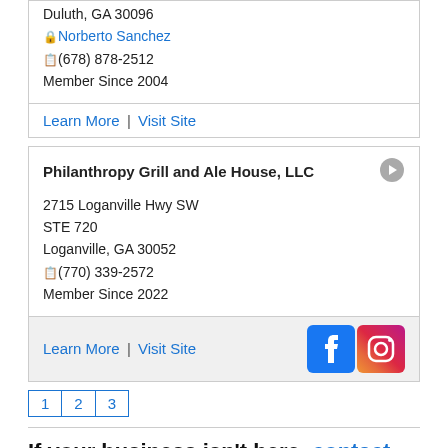Duluth, GA 30096
Norberto Sanchez
(678) 878-2512
Member Since 2004
Learn More | Visit Site
Philanthropy Grill and Ale House, LLC
2715 Loganville Hwy SW
STE 720
Loganville, GA 30052
(770) 339-2572
Member Since 2022
Learn More | Visit Site
1 2 3
If your business isn't here, contact us today to get listed!